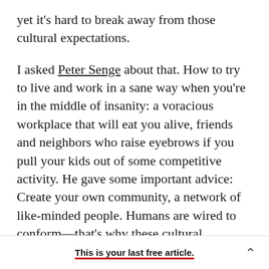yet it's hard to break away from those cultural expectations.

I asked Peter Senge about that. How to try to live and work in a sane way when you're in the middle of insanity: a voracious workplace that will eat you alive, friends and neighbors who raise eyebrows if you pull your kids out of some competitive activity. He gave some important advice: Create your own community, a network of like-minded people. Humans are wired to conform—that's why these cultural pressures, however silly they may seem, wield such power over us. So find a group that fits
This is your last free article.